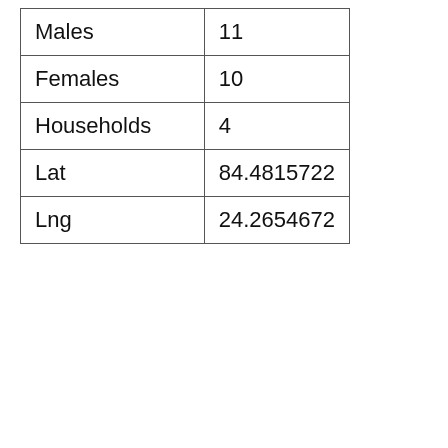| Males | 11 |
| Females | 10 |
| Households | 4 |
| Lat | 84.4815722 |
| Lng | 24.2654672 |